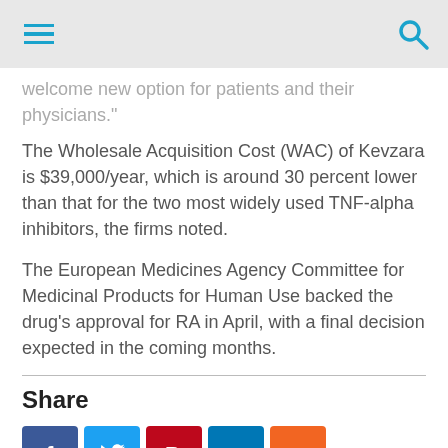[Navigation bar with hamburger menu and search icon]
welcome new option for patients and their physicians."
The Wholesale Acquisition Cost (WAC) of Kevzara is $39,000/year, which is around 30 percent lower than that for the two most widely used TNF-alpha inhibitors, the firms noted.
The European Medicines Agency Committee for Medicinal Products for Human Use backed the drug's approval for RA in April, with a final decision expected in the coming months.
Share